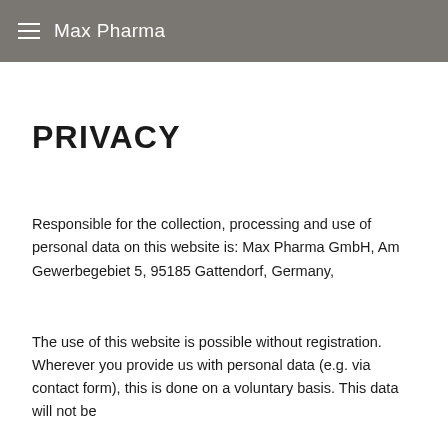Max Pharma
PRIVACY
Responsible for the collection, processing and use of personal data on this website is: Max Pharma GmbH, Am Gewerbegebiet 5, 95185 Gattendorf, Germany,
The use of this website is possible without registration. Wherever you provide us with personal data (e.g. via contact form), this is done on a voluntary basis. This data will not be